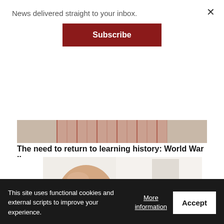News delivered straight to your inbox.
Subscribe
[Figure (photo): Partial image of a person in a plaid/checkered shirt, cropped to show lower face/chest area]
The need to return to learning history: World War II
[Figure (photo): Headshot of bald man with glasses wearing a blue shirt, with 'Rick's Column' branding and 'RICK PEREZ' text overlay]
This site uses functional cookies and external scripts to improve your experience.
More information
Accept